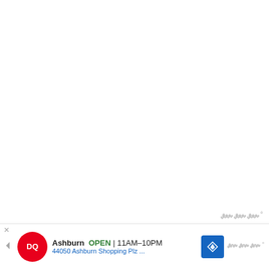[Figure (other): Large blank white area occupying most of the page, representing a loading or empty content region with a watermark logo in the lower right corner.]
So realistically, let's say that 5 or 6 of these
[Figure (other): Advertisement banner for Dairy Queen (DQ) in Ashburn showing OPEN 11AM-10PM, address 44050 Ashburn Shopping Plz..., with a navigation arrow icon and watermark logo.]